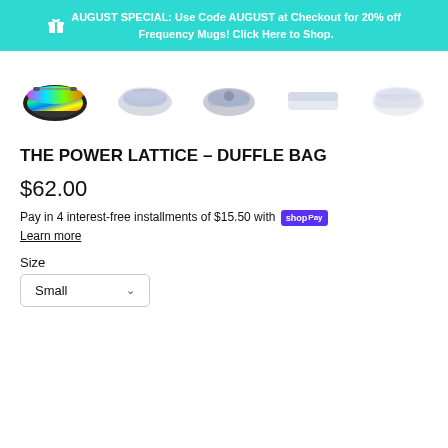AUGUST SPECIAL: Use Code AUGUST at Checkout for 20% off Frequency Mugs! Click Here to Shop.
[Figure (photo): Five thumbnail images of a colorful duffle bag (The Power Lattice design) shown from different angles]
THE POWER LATTICE - DUFFLE BAG
$62.00
Pay in 4 interest-free installments of $15.50 with shopPay Learn more
Size
Small